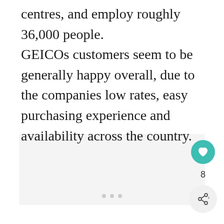centres, and employ roughly 36,000 people.
GEICOs customers seem to be generally happy overall, due to the companies low rates, easy purchasing experience and availability across the country.